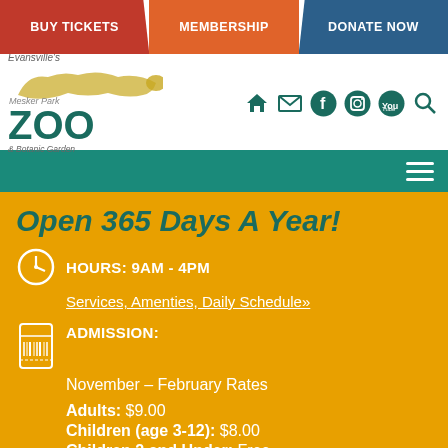BUY TICKETS | MEMBERSHIP | DONATE NOW
[Figure (logo): Evansville's Mesker Park Zoo & Botanic Garden logo with cheetah silhouette]
[Figure (infographic): Social media icons: home, email, facebook, instagram, youtube, search]
Open 365 Days A Year!
HOURS: 9AM - 4PM
Services, Amenties, Daily Schedule»
ADMISSION:
November – February Rates
Adults: $9.00
Children (age 3-12): $8.00
Children 2 and Under: Free